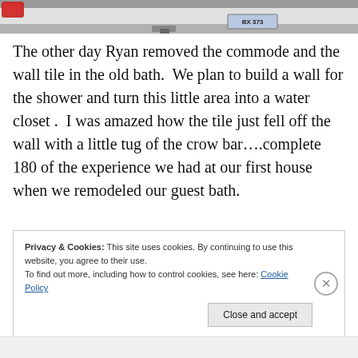[Figure (photo): Partial view of the back of a white vehicle/truck, showing a tail light on the left and a blue license plate reading BX 373 on the right, against a gray background.]
The other day Ryan removed the commode and the wall tile in the old bath.  We plan to build a wall for the shower and turn this little area into a water closet .  I was amazed how the tile just fell off the wall with a little tug of the crow bar….complete 180 of the experience we had at our first house when we remodeled our guest bath.
Privacy & Cookies: This site uses cookies. By continuing to use this website, you agree to their use.
To find out more, including how to control cookies, see here: Cookie Policy